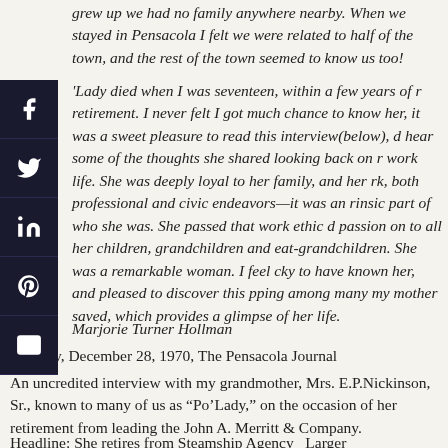grew up we had no family anywhere nearby. When we stayed in Pensacola I felt we were related to half of the town, and the rest of the town seemed to know us too!
'Lady died when I was seventeen, within a few years of r retirement. I never felt I got much chance to know her, it was a sweet pleasure to read this interview(below), d hear some of the thoughts she shared looking back on r work life. She was deeply loyal to her family, and her rk, both professional and civic endeavors—it was an rinsic part of who she was. She passed that work ethic d passion on to all her children, grandchildren and eat-grandchildren. She was a remarkable woman. I feel cky to have known her, and pleased to discover this pping among many my mother saved, which provides a glimpse of her life.
Marjorie Turner Hollman
Monday, December 28, 1970, The Pensacola Journal
An uncredited interview with my grandmother, Mrs. E.P.Nickinson, Sr., known to many of us as “Po’Lady,” on the occasion of her retirement from leading the John A. Merritt & Company.
Headline: She retires from Steamship Agency   Larger